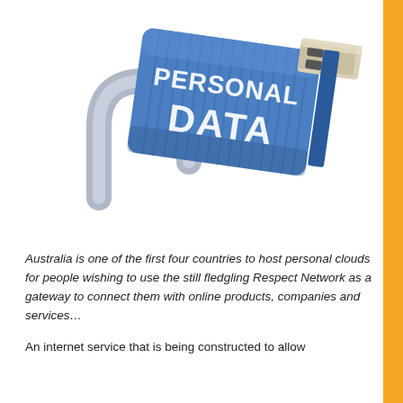[Figure (illustration): A 3D illustration of a blue USB flash drive designed to look like a padlock. The drive body is labeled 'PERSONAL DATA' in large white letters, with a metallic shackle (like a padlock arch) on the left side. A USB connector protrudes from the upper right. The image sits on a white background.]
Australia is one of the first four countries to host personal clouds for people wishing to use the still fledgling Respect Network as a gateway to connect them with online products, companies and services…
An internet service that is being constructed to allow